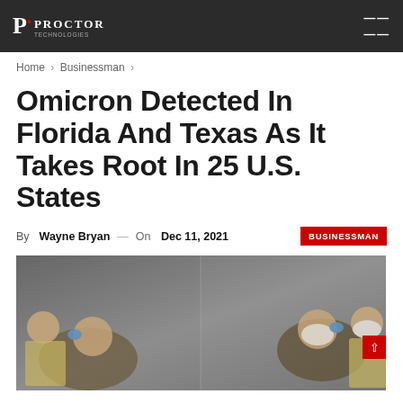PROCTOR — hamburger menu
Home > Businessman >
Omicron Detected In Florida And Texas As It Takes Root In 25 U.S. States
By Wayne Bryan — On Dec 11, 2021  BUSINESSMAN
[Figure (photo): Photo of medical workers in masks and protective gear administering COVID-19 nasal swab tests to patients, split into two scenes side by side.]